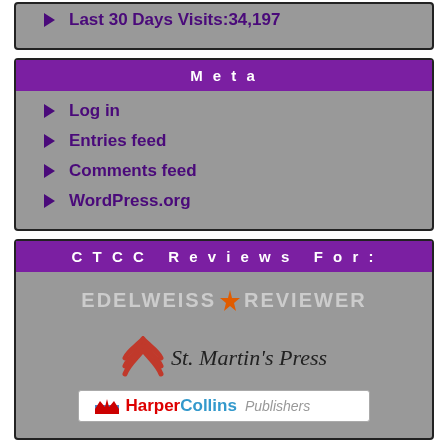Last 30 Days Visits:34,197
Meta
Log in
Entries feed
Comments feed
WordPress.org
CTCC Reviews For:
[Figure (logo): Edelweiss+ Reviewer logo]
[Figure (logo): St. Martin's Press logo with red wave icon]
[Figure (logo): HarperCollins Publishers logo bar]